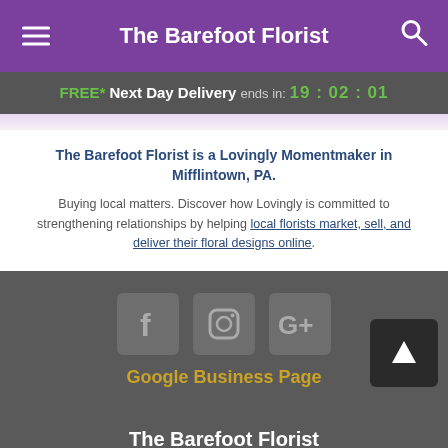The Barefoot Florist
FREE* Next Day Delivery ends in: 19:02:01
The Barefoot Florist is a Lovingly Momentmaker in Mifflintown, PA.
Buying local matters. Discover how Lovingly is committed to strengthening relationships by helping local florists market, sell, and deliver their floral designs online.
[Figure (screenshot): Social media icons: Facebook, Instagram, Google Plus]
Google Business Page
The Barefoot Florist
4277 William Penn Hwy Mifflintown PA 17059
+1 (717) 436-7579